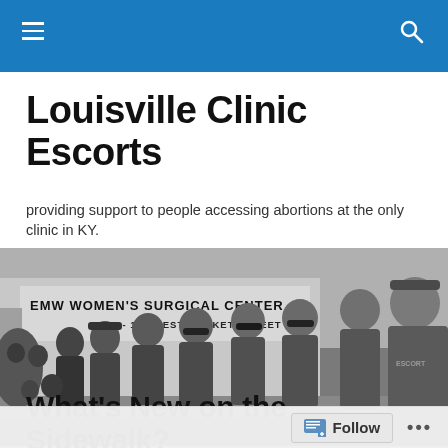Navigation bar with hamburger menu and search icon
Louisville Clinic Escorts
providing support to people accessing abortions at the only clinic in KY.
[Figure (photo): Black and white photograph of a group of clinic escorts standing in front of EMW Women's Surgical Center, 136-138 West Market Street]
What's New on the Sidewalk?
Follow •••